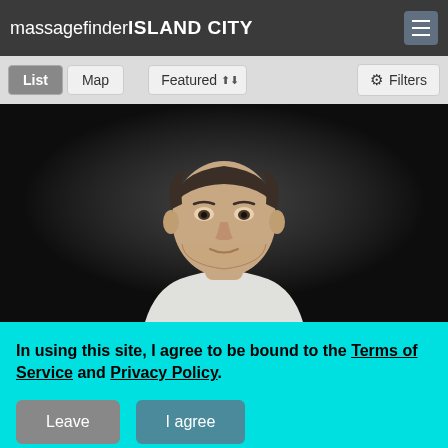massagefinder ISLAND CITY
List  Map  Featured  Filters
[Figure (photo): Professional headshot of a young man with short dark hair wearing a white t-shirt against a dark/black background]
In using this site, I agree to be bound to the Terms of Service and Privacy Policy.
Leave   I agree